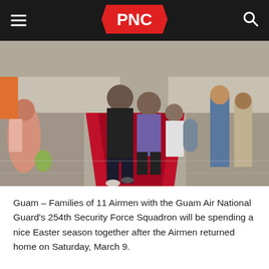PNC
[Figure (photo): People walking along a red carpet in a mall corridor. A woman in black is prominently in the foreground; several other people follow behind. Onlookers stand to the side.]
Guam – Families of 11 Airmen with the Guam Air National Guard's 254th Security Force Squadron will be spending a nice Easter season together after the Airmen returned home on Saturday, March 9.